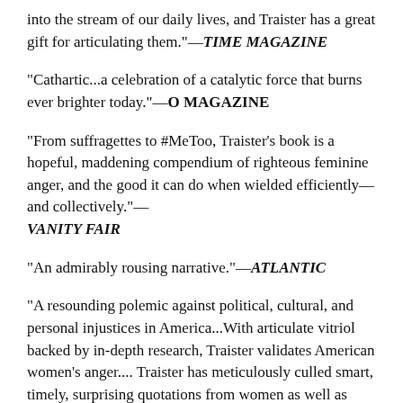into the stream of our daily lives, and Traister has a great gift for articulating them."—TIME MAGAZINE
"Cathartic...a celebration of a catalytic force that burns ever brighter today."—O MAGAZINE
"From suffragettes to #MeToo, Traister's book is a hopeful, maddening compendium of righteous feminine anger, and the good it can do when wielded efficiently—and collectively."—VANITY FAIR
"An admirably rousing narrative."—ATLANTIC
"A resounding polemic against political, cultural, and personal injustices in America...With articulate vitriol backed by in-depth research, Traister validates American women's anger.... Traister has meticulously culled smart, timely, surprising quotations from women as well as men. The combined strength of these many individual voices and stories gives the book tremendous gravity.... A gripping call to action that portends greater liberty